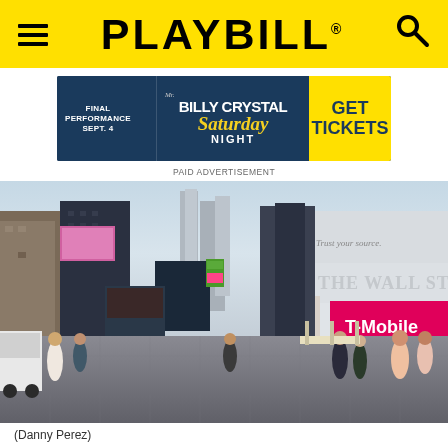PLAYBILL
[Figure (other): Advertisement banner: Billy Crystal in Mr. Saturday Night. Final Performance Sept. 4. Get Tickets.]
PAID ADVERTISEMENT
[Figure (photo): Times Square, New York City street view with billboards including The Wall Street Journal and T-Mobile signs, crowds of pedestrians.]
(Danny Perez)